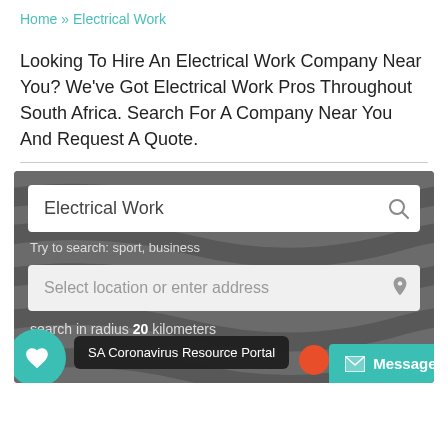Home » Electrical Work
Looking To Hire An Electrical Work Company Near You? We've Got Electrical Work Pros Throughout South Africa. Search For A Company Near You And Request A Quote.
[Figure (screenshot): Search widget with dark gray background and wavy lines. Contains a search text box with 'Electrical Work' and a magnifying glass icon, hint text 'Try to search: sport, business', a location input box 'Select location or enter address' with a pin icon, and text 'search in radius 20 kilometers'. Bottom overlay shows a teal heart icon button, a tooltip 'SA Coronavirus Resource Portal', an orange dot, and a teal 'Message' button.]